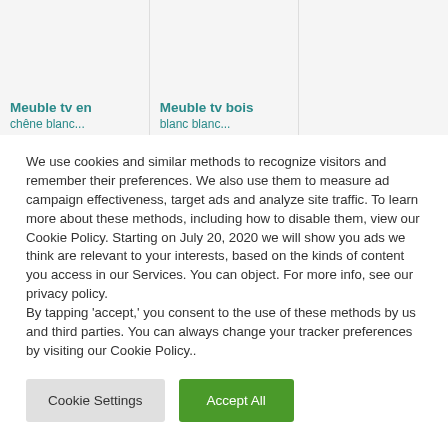[Figure (screenshot): Top portion of a product grid showing two product cards with teal/green titles 'Meuble tv en' and 'Meuble tv bois' partially visible, with gray background cells]
We use cookies and similar methods to recognize visitors and remember their preferences. We also use them to measure ad campaign effectiveness, target ads and analyze site traffic. To learn more about these methods, including how to disable them, view our Cookie Policy. Starting on July 20, 2020 we will show you ads we think are relevant to your interests, based on the kinds of content you access in our Services. You can object. For more info, see our privacy policy.
By tapping 'accept,' you consent to the use of these methods by us and third parties. You can always change your tracker preferences by visiting our Cookie Policy..
Cookie Settings
Accept All